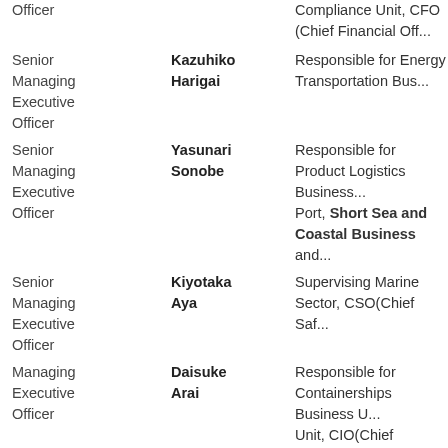| Title | Name | Responsibilities |
| --- | --- | --- |
| Officer |  | Compliance Unit, CFO (Chief Financial Off... |
| Senior Managing Executive Officer | Kazuhiko Harigai | Responsible for Energy Transportation Bus... |
| Senior Managing Executive Officer | Yasunari Sonobe | Responsible for Product Logistics Business..., Port, Short Sea and Coastal Business and... |
| Senior Managing Executive Officer | Kiyotaka Aya | Supervising Marine Sector, CSO(Chief Saf... |
| Managing Executive Officer | Daisuke Arai | Responsible for Containerships Business U..., Unit, CIO(Chief Information Officer) |
| Managing Executive Officer | Makoto Arai | Supervising Legal, Corporate Legal Risk &..., Internal Audit, CCO (Chief Compliance Offi... |
| Managing Executive Officer | Shingo Kogure | Responsible for General Affairs, Human Re... |